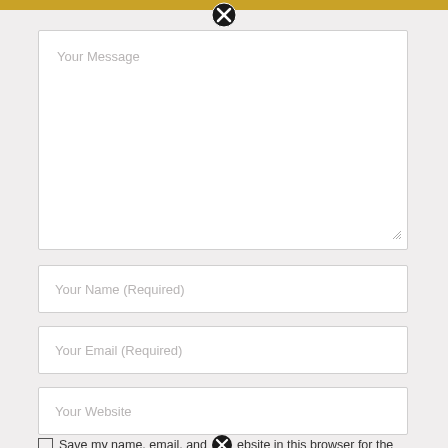[Figure (screenshot): Gold horizontal bar at top of modal dialog]
[Figure (other): Black circle close button (X) at top center]
Your Message
Your Name (Required)
Your Email (Required)
Your Website
Save my name, email, and website in this browser for the
[Figure (other): Black circle close button (X) at bottom center overlapping checkbox text]